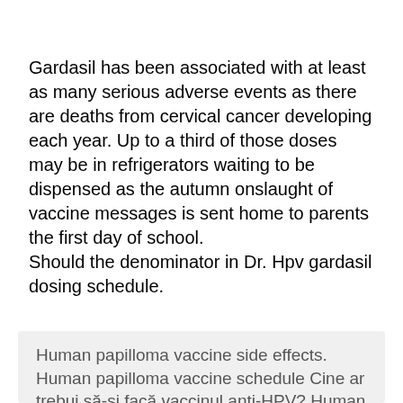Gardasil has been associated with at least as many serious adverse events as there are deaths from cervical cancer developing each year. Up to a third of those doses may be in refrigerators waiting to be dispensed as the autumn onslaught of vaccine messages is sent home to parents the first day of school.
Should the denominator in Dr. Hpv gardasil dosing schedule.
Human papilloma vaccine side effects. Human papilloma vaccine schedule Cine ar trebui să-și facă vaccinul anti-HPV? Human papillomavirus hpv vaccine side effects - Hpv vaccine side effects study led 10 code